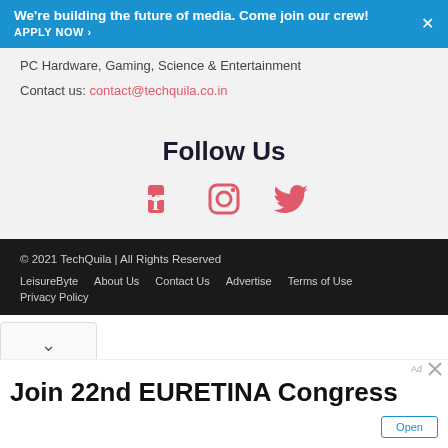We're building the future of media. Come join our crew! APPLY NOW ›
PC Hardware, Gaming, Science & Entertainment
Contact us: contact@techquila.co.in
Follow Us
[Figure (infographic): Social media icons: Facebook, Instagram, Twitter in salmon/pink color]
© 2021 TechQuila | All Rights Reserved  LeisureByte  About Us  Contact Us  Advertise  Terms of Use  Privacy Policy
Join 22nd EURETINA Congress